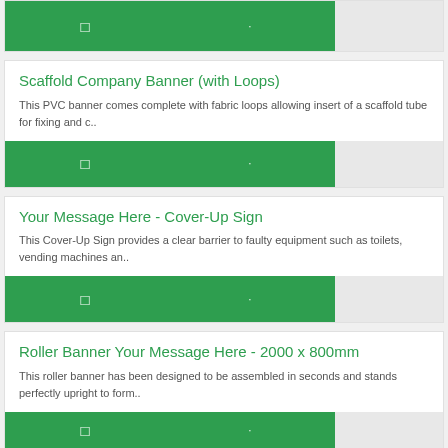[Figure (other): Top green button row strip partially visible]
Scaffold Company Banner (with Loops)
This PVC banner comes complete with fabric loops allowing insert of a scaffold tube for fixing and c..
[Figure (other): Green button row for Scaffold Company Banner]
Your Message Here - Cover-Up Sign
This Cover-Up Sign provides a clear barrier to faulty equipment such as toilets, vending machines an..
[Figure (other): Green button row for Cover-Up Sign]
Roller Banner Your Message Here - 2000 x 800mm
This roller banner has been designed to be assembled in seconds and stands perfectly upright to form..
[Figure (other): Green button row for Roller Banner, partially visible]